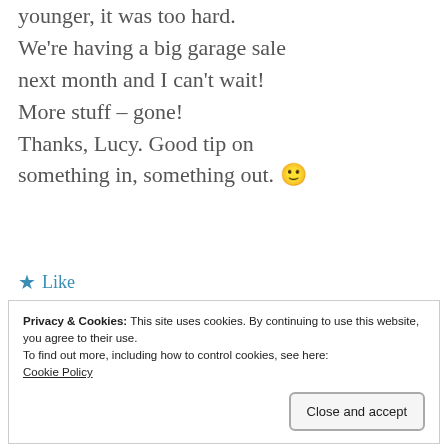younger, it was too hard. We're having a big garage sale next month and I can't wait! More stuff – gone! Thanks, Lucy. Good tip on something in, something out. 🙂
★ Like
Privacy & Cookies: This site uses cookies. By continuing to use this website, you agree to their use.
To find out more, including how to control cookies, see here: Cookie Policy
Close and accept